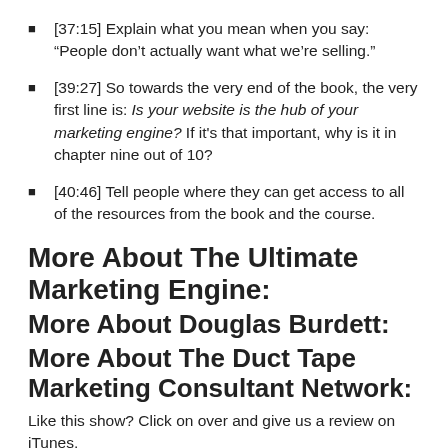[37:15] Explain what you mean when you say: “People don’t actually want what we’re selling.”
[39:27] So towards the very end of the book, the very first line is: Is your website is the hub of your marketing engine? If it’s that important, why is it in chapter nine out of 10?
[40:46] Tell people where they can get access to all of the resources from the book and the course.
More About The Ultimate Marketing Engine:
More About Douglas Burdett:
More About The Duct Tape Marketing Consultant Network:
Like this show? Click on over and give us a review on iTunes,